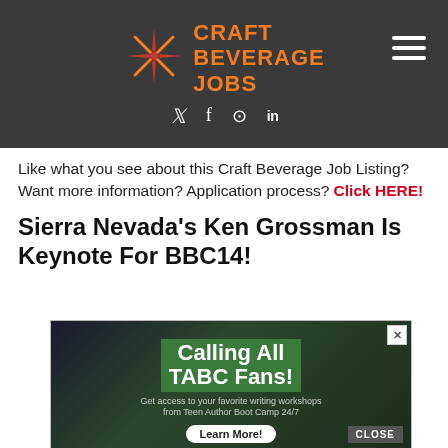Craft Beverage Jobs
Like what you see about this Craft Beverage Job Listing? Want more information? Application process? Click HERE!
Sierra Nevada’s Ken Grossman Is Keynote For BBC14!
[Figure (screenshot): Advertisement banner: 'Calling All TABC Fans! Get access to your favorite writing workshops from Teen Author Boot Camp 24/7' with a 'Learn More!' button and a 'CLOSE' button overlay, shown over a dark background with audience crowd photo.]